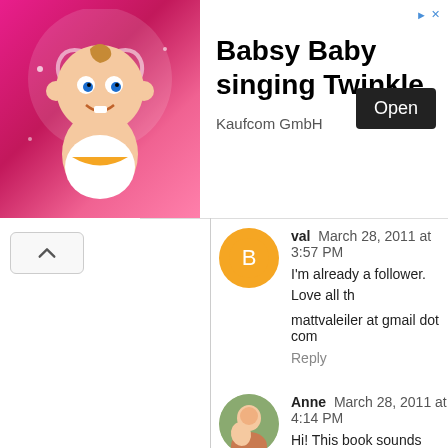[Figure (screenshot): Advertisement banner for 'Babsy Baby singing Twinkle' app by Kaufcom GmbH, showing animated baby character on pink background with an Open button]
Babsy Baby singing Twinkle
Kaufcom GmbH
val  March 28, 2011 at 3:57 PM
I'm already a follower. Love all th
mattvaleiler at gmail dot com
Reply
Anne  March 28, 2011 at 4:14 PM
Hi! This book sounds great. I am quilting blogs though! My daugh great! Thanks for the chance to wi
Reply
Karen  March 28, 2011 at 4:23 PM